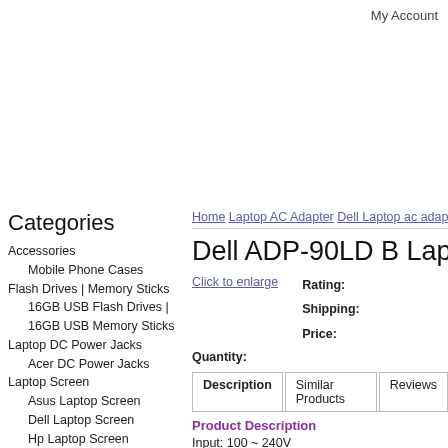My Account
Categories
Accessories
Mobile Phone Cases
Flash Drives | Memory Sticks
16GB USB Flash Drives | 16GB USB Memory Sticks
Laptop DC Power Jacks
Acer DC Power Jacks
Laptop Screen
Asus Laptop Screen
Dell Laptop Screen
Hp Laptop Screen
Acer Laptop Screen
Android Tablet PC
Home   Laptop AC Adapter   Dell Laptop ac adap...
Dell ADP-90LD B Laptop a...
Click to enlarge
Rating:
Shipping:
Price:
Quantity:
Description   Similar Products   Reviews
Product Description
Input: 100 ~ 240V